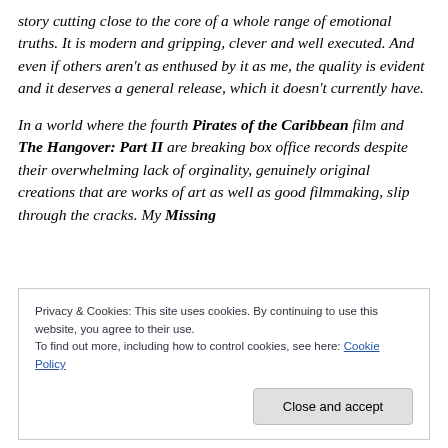story cutting close to the core of a whole range of emotional truths. It is modern and gripping, clever and well executed. And even if others aren't as enthused by it as me, the quality is evident and it deserves a general release, which it doesn't currently have.

In a world where the fourth Pirates of the Caribbean film and The Hangover: Part II are breaking box office records despite their overwhelming lack of orginality, genuinely original creations that are works of art as well as good filmmaking, slip through the cracks. My Missing
Privacy & Cookies: This site uses cookies. By continuing to use this website, you agree to their use.
To find out more, including how to control cookies, see here: Cookie Policy

Close and accept